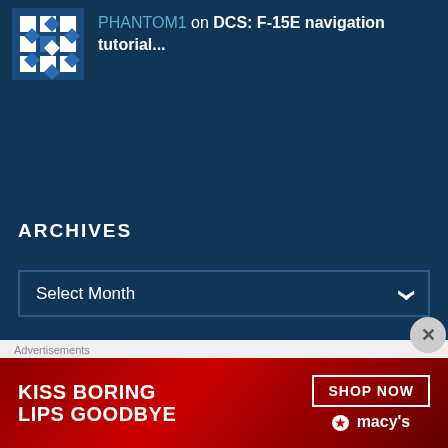[Figure (illustration): Blue and white diamond/grid pattern avatar icon]
PHANTOM1 on DCS: F-15E navigation tutorial...
ARCHIVES
Select Month
CATEGORIES
Buyers Guide
Community Q&A
Advertisements
[Figure (illustration): Macy's advertisement banner: KISS BORING LIPS GOODBYE with SHOP NOW button and Macy's star logo]